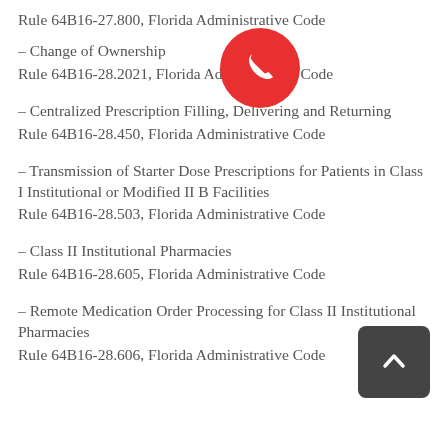– Change of Ownership
Rule 64B16-28.2021, Florida Administrative Code
– Centralized Prescription Filling, Delivering and Returning
Rule 64B16-28.450, Florida Administrative Code
– Transmission of Starter Dose Prescriptions for Patients in Class I Institutional or Modified II B Facilities
Rule 64B16-28.503, Florida Administrative Code
– Class II Institutional Pharmacies
Rule 64B16-28.605, Florida Administrative Code
– Remote Medication Order Processing for Class II Institutional Pharmacies
Rule 64B16-28.606, Florida Administrative Code
[Figure (other): Red circular phone/call button UI overlay]
[Figure (other): Dark grey rounded square back-to-top arrow button UI overlay]